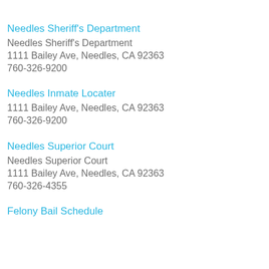Needles Sheriff's Department
Needles Sheriff's Department
1111 Bailey Ave, Needles, CA 92363
760-326-9200
Needles Inmate Locater
1111 Bailey Ave, Needles, CA 92363
760-326-9200
Needles Superior Court
Needles Superior Court
1111 Bailey Ave, Needles, CA 92363
760-326-4355
Felony Bail Schedule